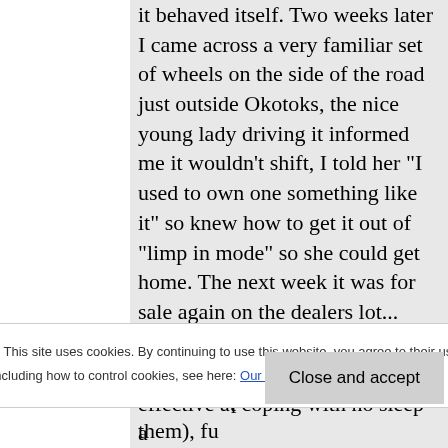it behaved itself. Two weeks later I came across a very familiar set of wheels on the side of the road just outside Okotoks, the nice young lady driving it informed me it wouldn't shift, I told her "I used to own one something like it" so knew how to get it out of "limp in mode" so she could get home. The next week it was for sale again on the dealers lot...
Just discovered your books (A friend in Spokane recommended them), fu...
Privacy & Cookies: This site uses cookies. By continuing to use this website, you agree to their use. To find out more, including how to control cookies, see here: Our Cookie Policy
Close and accept
effective at coping with no sleep a...